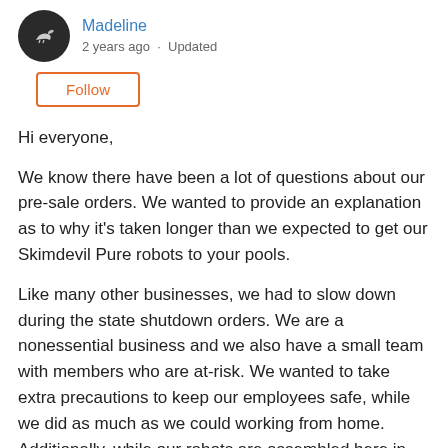Madeline · 2 years ago · Updated
Follow
Hi everyone,
We know there have been a lot of questions about our pre-sale orders. We wanted to provide an explanation as to why it's taken longer than we expected to get our Skimdevil Pure robots to your pools.
Like many other businesses, we had to slow down during the state shutdown orders. We are a nonessential business and we also have a small team with members who are at-risk. We wanted to take extra precautions to keep our employees safe, while we did as much as we could working from home. Additionally, while our robots are assembled here in Florida, many of our pieces are created overseas.